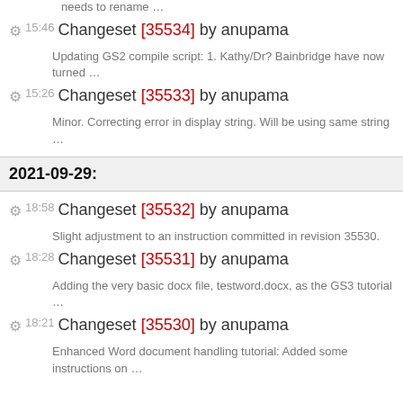needs to rename …
15:46 Changeset [35534] by anupama — Updating GS2 compile script: 1. Kathy/Dr? Bainbridge have now turned …
15:26 Changeset [35533] by anupama — Minor. Correcting error in display string. Will be using same string …
2021-09-29:
18:58 Changeset [35532] by anupama — Slight adjustment to an instruction committed in revision 35530.
18:28 Changeset [35531] by anupama — Adding the very basic docx file, testword.docx, as the GS3 tutorial …
18:21 Changeset [35530] by anupama — Enhanced Word document handling tutorial: Added some instructions on …